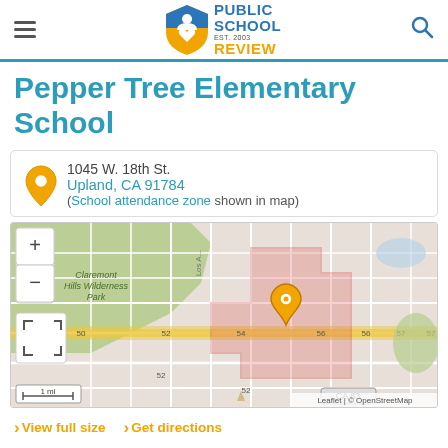Public School Review EST. 2003
Pepper Tree Elementary School
1045 W. 18th St.
Upland, CA 91784
(School attendance zone shown in map)
[Figure (map): Interactive street map showing the school attendance zone boundary for Pepper Tree Elementary School in Upland, CA. The map includes Claremont Hills Wilderness Park to the west, a red-outlined attendance zone polygon, and an orange location pin marker. Map controls include zoom in (+), zoom out (-), and fullscreen buttons. Scale bar shows 1 mi. Attribution: Leaflet | © OpenStreetMap.]
View full size   Get directions